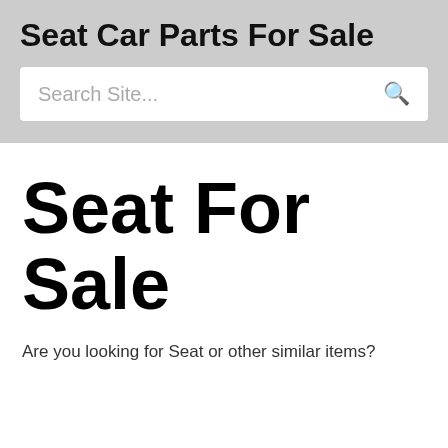Seat Car Parts For Sale
Search Site...
Seat For Sale
Are you looking for Seat or other similar items?